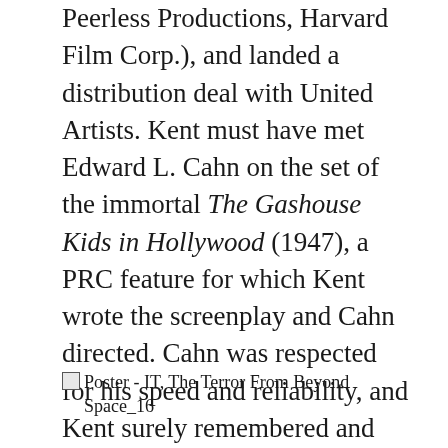Peerless Productions, Harvard Film Corp.), and landed a distribution deal with United Artists. Kent must have met Edward L. Cahn on the set of the immortal The Gashouse Kids in Hollywood (1947), a PRC feature for which Kent wrote the screenplay and Cahn directed. Cahn was respected for his speed and reliability, and Kent surely remembered and filed that away. So Cahn was brought on to direct It! The Terror From Beyond Space for Vogue Pictures, the first of 32 features they would make together in the next four years.
[Figure (other): Broken image placeholder with caption: Poster - IT, The Terror From Beyond Space_16]
Poster - IT, The Terror From Beyond Space_16